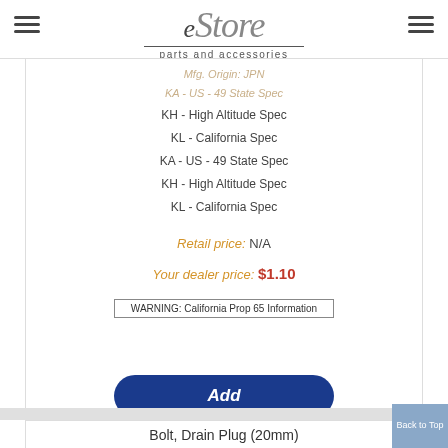eStore parts and accessories
KH - High Altitude Spec
KL - California Spec
KA - US - 49 State Spec
KH - High Altitude Spec
KL - California Spec
Retail price: N/A
Your dealer price: $1.10
Add
WARNING: California Prop 65 Information
Bolt, Drain Plug (20mm)